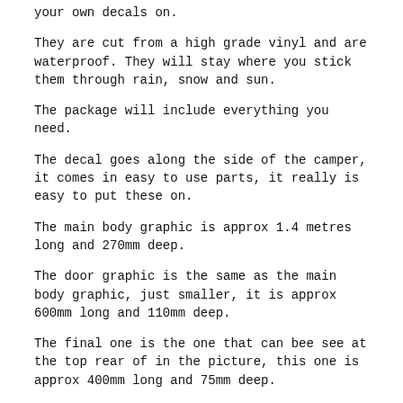your own decals on.
They are cut from a high grade vinyl and are waterproof. They will stay where you stick them through rain, snow and sun.
The package will include everything you need.
The decal goes along the side of the camper, it comes in easy to use parts, it really is easy to put these on.
The main body graphic is approx 1.4 metres long and 270mm deep.
The door graphic is the same as the main body graphic, just smaller, it is approx 600mm long and 110mm deep.
The final one is the one that can bee see at the top rear of in the picture, this one is approx 400mm long and 75mm deep.
You obviously get all 3 for each side of the vehicle.
They come is pieces where you will have to arrange them, but